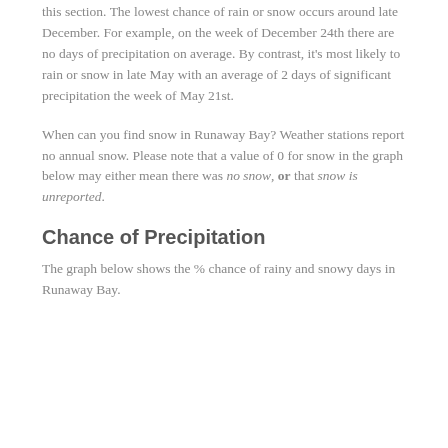this section. The lowest chance of rain or snow occurs around late December. For example, on the week of December 24th there are no days of precipitation on average. By contrast, it's most likely to rain or snow in late May with an average of 2 days of significant precipitation the week of May 21st.
When can you find snow in Runaway Bay? Weather stations report no annual snow. Please note that a value of 0 for snow in the graph below may either mean there was no snow, or that snow is unreported.
Chance of Precipitation
The graph below shows the % chance of rainy and snowy days in Runaway Bay.